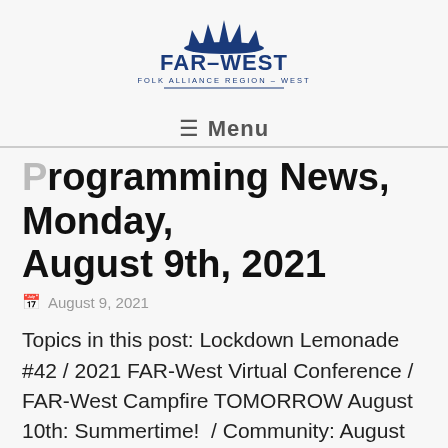[Figure (logo): FAR-WEST Folk Alliance Region - West logo with blue spiky crown/flame design above the text]
≡ Menu
Programming News, Monday, August 9th, 2021
August 9, 2021
Topics in this post: Lockdown Lemonade #42 / 2021 FAR-West Virtual Conference / FAR-West Campfire TOMORROW August 10th: Summertime!  / Community: August 16th & August 30th + Archives / FAR-West Teaches Sept 2nd + Archives  / Where to Post your Shows /